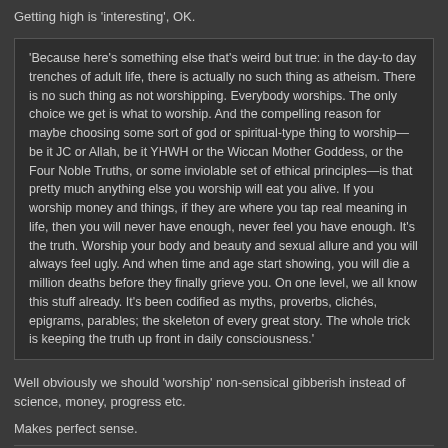Getting high is 'interesting', OK.
'Because here's something else that's weird but true: in the day-to day trenches of adult life, there is actually no such thing as atheism. There is no such thing as not worshipping. Everybody worships. The only choice we get is what to worship. And the compelling reason for maybe choosing some sort of god or spiritual-type thing to worship—be it JC or Allah, be it YHWH or the Wiccan Mother Goddess, or the Four Noble Truths, or some inviolable set of ethical principles—is that pretty much anything else you worship will eat you alive. If you worship money and things, if they are where you tap real meaning in life, then you will never have enough, never feel you have enough. It's the truth. Worship your body and beauty and sexual allure and you will always feel ugly. And when time and age start showing, you will die a million deaths before they finally grieve you. On one level, we all know this stuff already. It's been codified as myths, proverbs, clichés, epigrams, parables; the skeleton of every great story. The whole trick is keeping the truth up front in daily consciousness.'
Well obviously we should 'worship' non-sensical gibberish instead of science, money, progress etc.
Makes perfect sense.
Русский военный корабль, иди на хуй!
9 months, 3 weeks ago   #1998
uzig